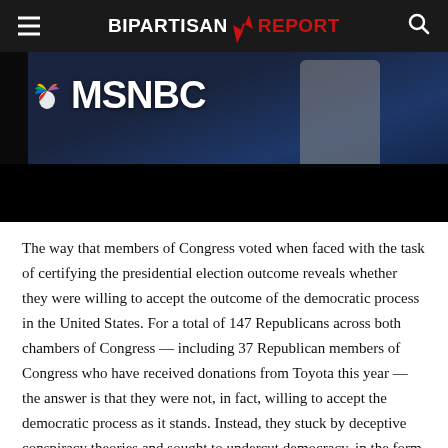BIPARTISAN REPORT
[Figure (photo): MSNBC logo visible on a dark background with a partial view of a person in a white outfit]
The way that members of Congress voted when faced with the task of certifying the presidential election outcome reveals whether they were willing to accept the outcome of the democratic process in the United States. For a total of 147 Republicans across both chambers of Congress — including 37 Republican members of Congress who have received donations from Toyota this year — the answer is that they were not, in fact, willing to accept the democratic process as it stands. Instead, they stuck by deceptive conspiracy theories and sought to undercut democracy, in the form that it has been set up in the United States.